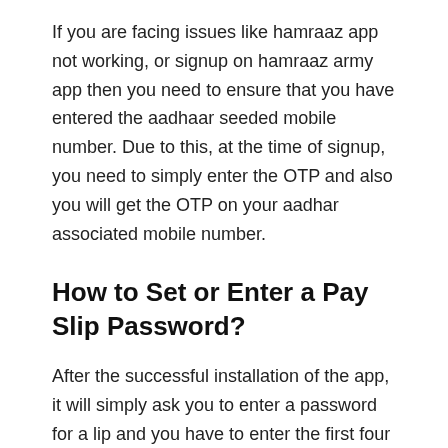If you are facing issues like hamraaz app not working, or signup on hamraaz army app then you need to ensure that you have entered the aadhaar seeded mobile number. Due to this, at the time of signup, you need to simply enter the OTP and also you will get the OTP on your aadhar associated mobile number.
How to Set or Enter a Pay Slip Password?
After the successful installation of the app, it will simply ask you to enter a password for a lip and you have to enter the first four digits of your PAN card and also the first four digits of your date and month of birth.